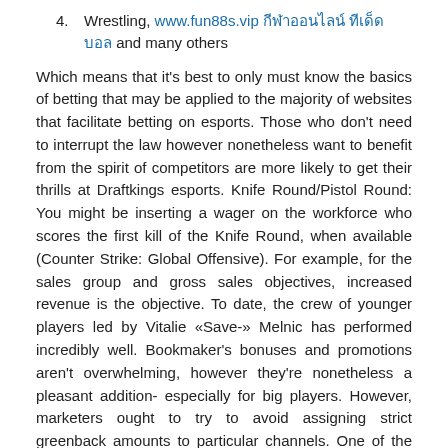4. Wrestling, www.fun88s.vip [Thai text] [Thai text] and many others
Which means that it's best to only must know the basics of betting that may be applied to the majority of websites that facilitate betting on esports. Those who don't need to interrupt the law however nonetheless want to benefit from the spirit of competitors are more likely to get their thrills at Draftkings esports. Knife Round/Pistol Round: You might be inserting a wager on the workforce who scores the first kill of the Knife Round, when available (Counter Strike: Global Offensive). For example, for the sales group and gross sales objectives, increased revenue is the objective. To date, the crew of younger players led by Vitalie «Save-» Melnic has performed incredibly well. Bookmaker's bonuses and promotions aren't overwhelming, however they're nonetheless a pleasant addition- especially for big players. However, marketers ought to try to avoid assigning strict greenback amounts to particular channels. One of the issues that I strive to explain is that, and I think this was touched upon, whenever you see something taking place and you're in a position to do it on an internet site without concern, it does not necessarily mean that it's lawful and authorized.